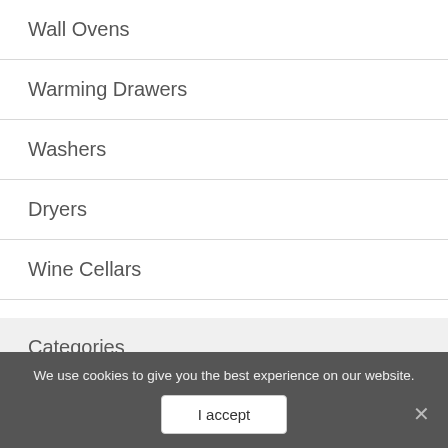Wall Ovens
Warming Drawers
Washers
Dryers
Wine Cellars
Categories
Appliances
Automotive
Baby
We use cookies to give you the best experience on our website.
I accept